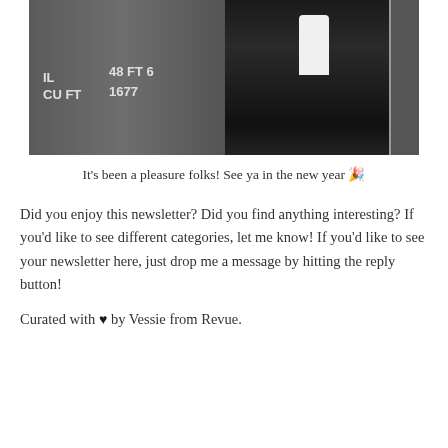[Figure (photo): Black and white photograph of a man in formal evening wear (tuxedo) standing next to a freight rail car door. The car shows markings: 'IL CU FT' and '48 FT 6 1677'.]
It's been a pleasure folks! See ya in the new year 🎉
Did you enjoy this newsletter? Did you find anything interesting? If you'd like to see different categories, let me know! If you'd like to see your newsletter here, just drop me a message by hitting the reply button!
Curated with ♥ by Vessie from Revue.